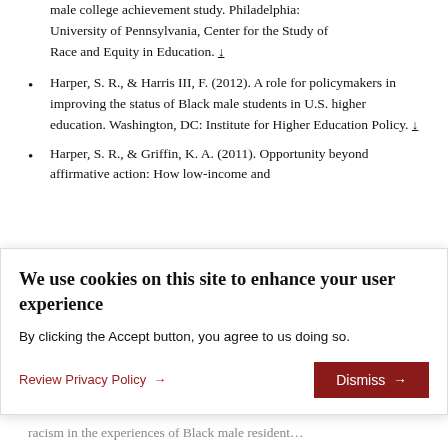male college achievement study. Philadelphia: University of Pennsylvania, Center for the Study of Race and Equity in Education. ↓
Harper, S. R., & Harris III, F. (2012). A role for policymakers in improving the status of Black male students in U.S. higher education. Washington, DC: Institute for Higher Education Policy. ↓
Harper, S. R., & Griffin, K. A. (2011). Opportunity beyond affirmative action: How low-income and racism in the experiences of Black male resident…
We use cookies on this site to enhance your user experience
By clicking the Accept button, you agree to us doing so.
Review Privacy Policy → Dismiss →